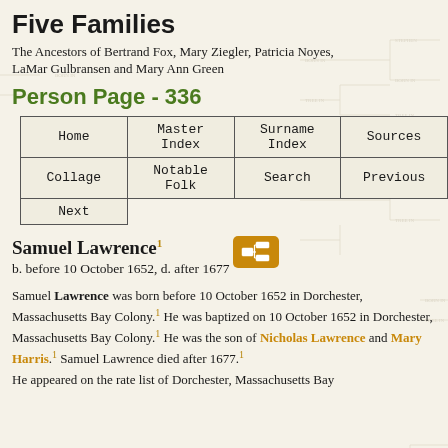Five Families
The Ancestors of Bertrand Fox, Mary Ziegler, Patricia Noyes, LaMar Gulbransen and Mary Ann Green
Person Page - 336
| Home | Master Index | Surname Index | Sources |
| --- | --- | --- | --- |
| Collage | Notable Folk | Search | Previous |
| Next |  |  |  |
Samuel Lawrence¹
b. before 10 October 1652, d. after 1677
Samuel Lawrence was born before 10 October 1652 in Dorchester, Massachusetts Bay Colony.¹ He was baptized on 10 October 1652 in Dorchester, Massachusetts Bay Colony.¹ He was the son of Nicholas Lawrence and Mary Harris.¹ Samuel Lawrence died after 1677.¹
He appeared on the rate list of Dorchester, Massachusetts Bay